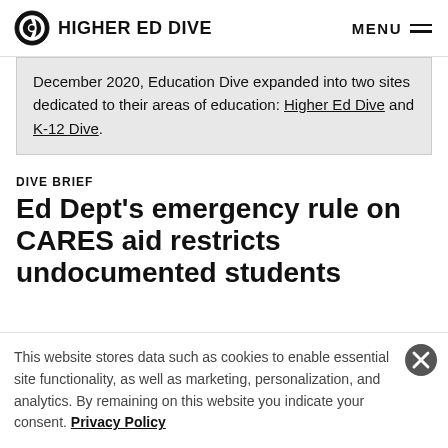HIGHER ED DIVE  MENU
December 2020, Education Dive expanded into two sites dedicated to their areas of education: Higher Ed Dive and K-12 Dive.
DIVE BRIEF
Ed Dept’s emergency rule on CARES aid restricts undocumented students
This website stores data such as cookies to enable essential site functionality, as well as marketing, personalization, and analytics. By remaining on this website you indicate your consent. Privacy Policy